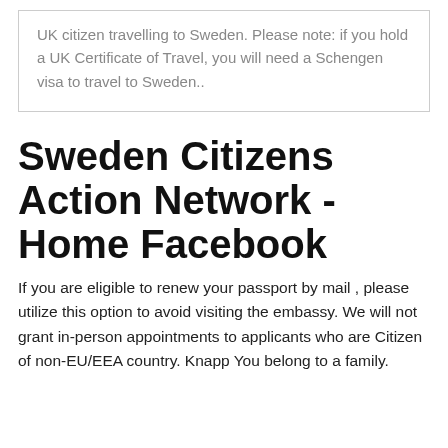UK citizen travelling to Sweden. Please note: if you hold a UK Certificate of Travel, you will need a Schengen visa to travel to Sweden..
Sweden Citizens Action Network - Home Facebook
If you are eligible to renew your passport by mail , please utilize this option to avoid visiting the embassy. We will not grant in-person appointments to applicants who are Citizen of non-EU/EEA country. Knapp You belong to a family.